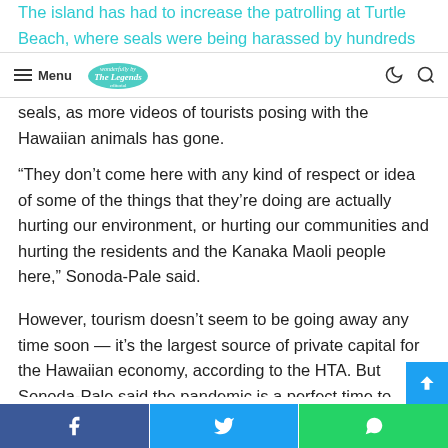Menu | The Legends [logo] | [moon icon] [search icon]
The island has had to increase the patrolling at Turtle Beach, where seals were being harassed by hundreds of tourists, and one visitor was fined $500 for touching endangered monk seals, as more videos of tourists posing with the Hawaiian animals has gone.
“They don’t come here with any kind of respect or idea of some of the things that they’re doing are actually hurting our environment, or hurting our communities and hurting the residents and the Kanaka Maoli people here,” Sonoda-Pale said.
However, tourism doesn’t seem to be going away any time soon — it’s the largest source of private capital for the Hawaiian economy, according to the HTA. But Sonoda-Pale said the pandemic is a perfect time to reimagine the
[Facebook] [Twitter] [WhatsApp]